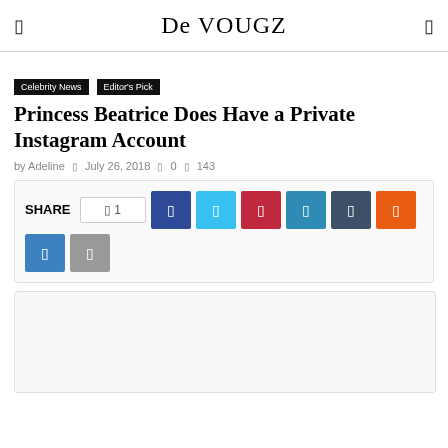De VOUGZ
Celebrity News  Editor's Pick
Princess Beatrice Does Have a Private Instagram Account
by Adeline  July 26, 2018  0  143
[Figure (other): Social share buttons row: share count 1, Facebook (dark blue), Twitter (light blue), Pinterest (red), LinkedIn (blue), Telegram (dark navy), Reddit (orange), VK (blue), gray button]
[Figure (photo): Article image placeholder (white/light gray box)]